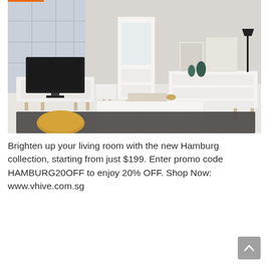[Figure (photo): Scandinavian-style living room furniture set (Hamburg collection) with white TV unit, tall display cabinet, sideboard with drawers, and white coffee table on dark grey shag rug with mustard yellow cushion.]
Brighten up your living room with the new Hamburg collection, starting from just $199. Enter promo code HAMBURG20OFF to enjoy 20% OFF. Shop Now: www.vhive.com.sg